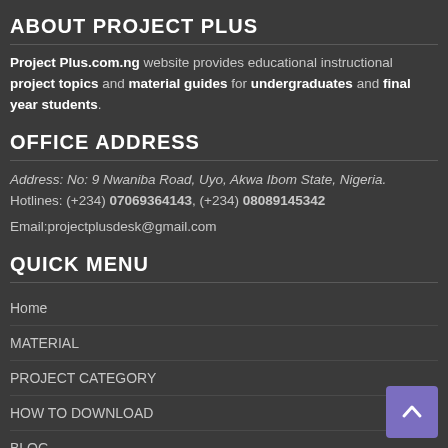ABOUT PROJECT PLUS
Project Plus.com.ng website provides educational instructional project topics and material guides for undergraduates and final year students.
OFFICE ADDRESS
Address: No: 9 Nwaniba Road, Uyo, Akwa Ibom State, Nigeria.
Hotlines: (+234) 07069364143, (+234) 08089145342
Email:projectplusdesk@gmail.com
QUICK MENU
Home
MATERIAL
PROJECT CATEGORY
HOW TO DOWNLOAD
BLOG